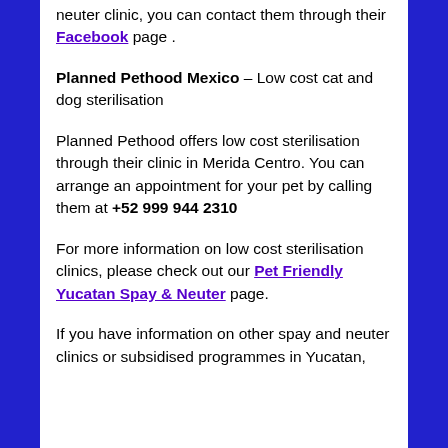neuter clinic, you can contact them through their Facebook page .
Planned Pethood Mexico – Low cost cat and dog sterilisation
Planned Pethood offers low cost sterilisation through their clinic in Merida Centro. You can arrange an appointment for your pet by calling them at +52 999 944 2310
For more information on low cost sterilisation clinics, please check out our Pet Friendly Yucatan Spay & Neuter page.
If you have information on other spay and neuter clinics or subsidised programmes in Yucatan,